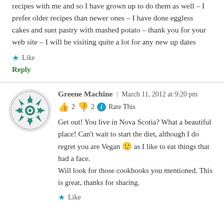recipes with me and so I have grown up to do them as well – I prefer older recipes than newer ones – I have done eggless cakes and suet pastry with mashed potato – thank you for your web site – I will be visiting quite a lot for any new up dates
Like
Reply
Greene Machine | March 11, 2012 at 9:20 pm
👍 2 👎 2 ℹ Rate This
Get out! You live in Nova Scotia? What a beautiful place! Can't wait to start the diet, although I do regret you are Vegan 🙂 as I like to eat things that had a face.
Will look for those cookbooks you mentioned. This is great, thanks for sharing.
Like